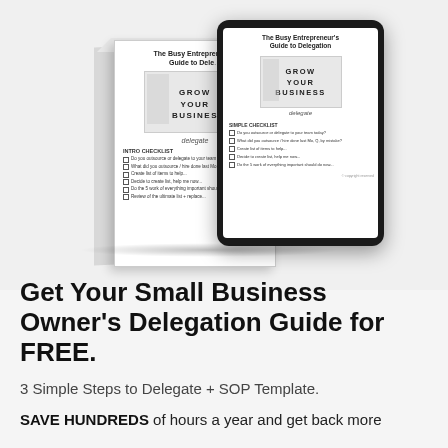[Figure (illustration): Product mockup showing a book/box and tablet device displaying 'The Busy Entrepreneur's Guide to Delegation' with 'GROW YOUR BUSINESS' text and 'delegate' branding, along with checklist content.]
Get Your Small Business Owner's Delegation Guide for FREE.
3 Simple Steps to Delegate + SOP Template.
SAVE HUNDREDS of hours a year and get back more